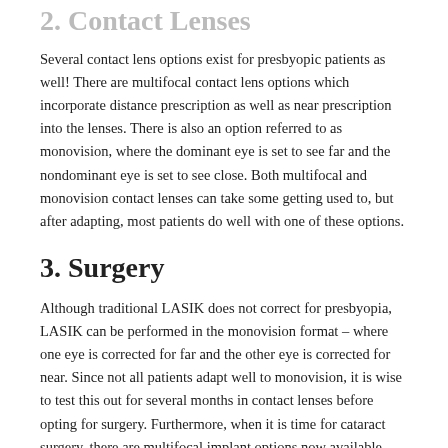2. Contact Lenses
Several contact lens options exist for presbyopic patients as well! There are multifocal contact lens options which incorporate distance prescription as well as near prescription into the lenses. There is also an option referred to as monovision, where the dominant eye is set to see far and the nondominant eye is set to see close. Both multifocal and monovision contact lenses can take some getting used to, but after adapting, most patients do well with one of these options.
3. Surgery
Although traditional LASIK does not correct for presbyopia, LASIK can be performed in the monovision format – where one eye is corrected for far and the other eye is corrected for near. Since not all patients adapt well to monovision, it is wise to test this out for several months in contact lenses before opting for surgery. Furthermore, when it is time for cataract surgery, there are multifocal implant options now available.